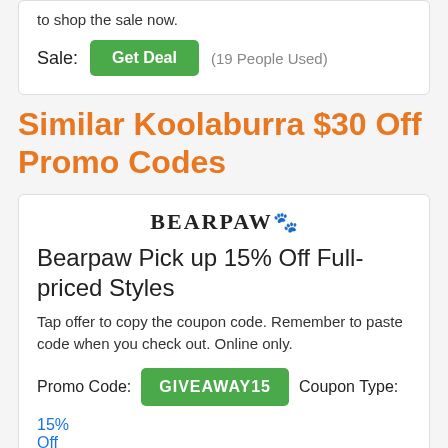to shop the sale now.
Sale:
Get Deal
(19 People Used)
Similar Koolaburra $30 Off Promo Codes
[Figure (logo): Bearpaw logo with stylized paw print icon]
Bearpaw Pick up 15% Off Full-priced Styles
Tap offer to copy the coupon code. Remember to paste code when you check out. Online only.
Promo Code: GIVEAWAY15 Coupon Type: 15% Off
More Bearpaw Coupons, Promo Codes »